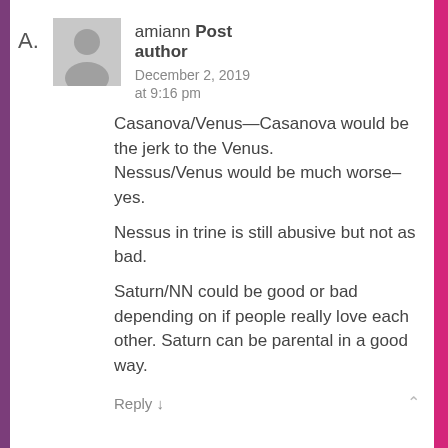amiann Post author December 2, 2019 at 9:16 pm
Casanova/Venus—Casanova would be the jerk to the Venus.
Nessus/Venus would be much worse–yes.

Nessus in trine is still abusive but not as bad.

Saturn/NN could be good or bad depending on if people really love each other. Saturn can be parental in a good way.
Reply ↓